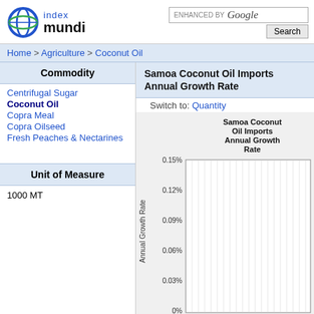[Figure (logo): Index Mundi logo with circular globe graphic and text 'index mundi']
ENHANCED BY Google Search
Home > Agriculture > Coconut Oil
Commodity
Centrifugal Sugar
Coconut Oil
Copra Meal
Copra Oilseed
Fresh Peaches & Nectarines
Unit of Measure
1000 MT
Samoa Coconut Oil Imports Annual Growth Rate
Switch to: Quantity
[Figure (continuous-plot): Bar chart showing Samoa Coconut Oil Imports Annual Growth Rate. Y-axis shows percentages from 0% to 0.15% (with labels at 0.03%, 0.06%, 0.09%, 0.12%, 0.15%). X-axis represents years. Chart title reads 'Samoa Coconut Oil Imports Annual Growth Rate'. Y-axis label reads 'Annual Growth Rate'. Chart area shows vertical bars with gridlines.]